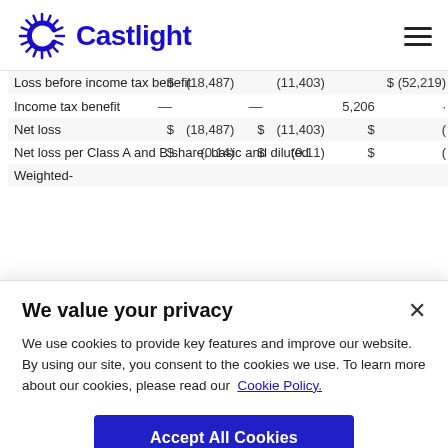Castlight
| Loss before income tax benefit | $ | (18,487) |  | (11,403) |  | $ (52,219) |
| Income tax benefit | — |  | — |  | 5,206 | · |
| Net loss | $ | (18,487) | $ | (11,403) | $ | ( |
| Net loss per Class A and B share, basic and diluted | $ | (0.14) | $ | (0.11) | $ | ( |
| Weighted- |  |  |  |  |  |  |
We value your privacy
We use cookies to provide key features and improve our website. By using our site, you consent to the cookies we use. To learn more about our cookies, please read our Cookie Policy.
Accept All Cookies